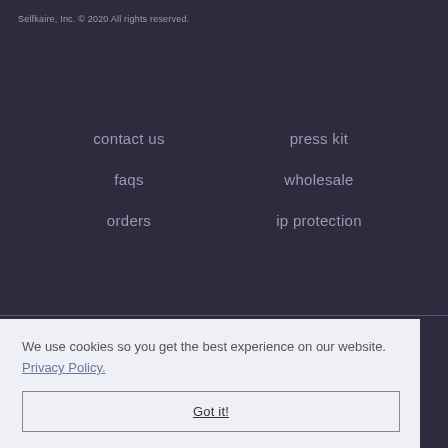Selfkaire, Inc. © 2020 All rights reserved.
contact us
press kit
faqs
wholesale
orders
ip protection
*these statements have not been evaluated by the food and drug ... cure or
We use cookies so you get the best experience on our website. Privacy Policy.
Got it!